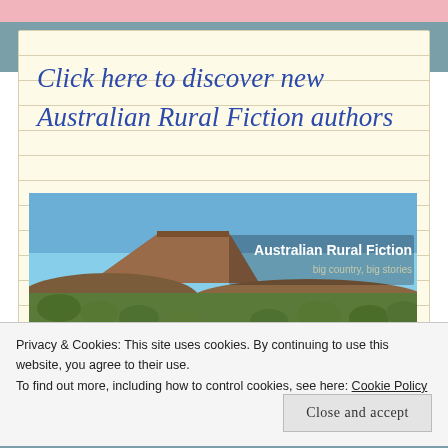Click here to discover new Australian Rural Fiction authors
[Figure (photo): Landscape photo of Australian outback with a mesa/butte rock formation under blue sky, red dirt road through scrubby green trees, with text overlay: 'Australian Rural Fiction — big country, big stories']
Privacy & Cookies: This site uses cookies. By continuing to use this website, you agree to their use.
To find out more, including how to control cookies, see here: Cookie Policy
Close and accept